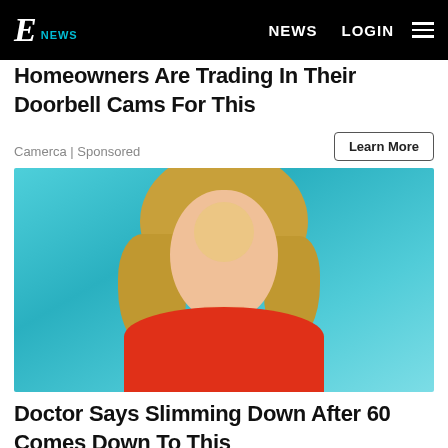E! NEWS | NEWS | LOGIN
Homeowners Are Trading In Their Doorbell Cams For This
Camerca | Sponsored
Learn More
[Figure (photo): Blonde woman in red top against teal/blue background, appears to be a TV personality or news anchor]
Doctor Says Slimming Down After 60 Comes Down To This